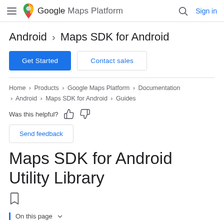Google Maps Platform — Sign in
Android > Maps SDK for Android
Get Started | Contact sales
Home > Products > Google Maps Platform > Documentation > Android > Maps SDK for Android > Guides
Was this helpful?
Send feedback
Maps SDK for Android Utility Library
On this page